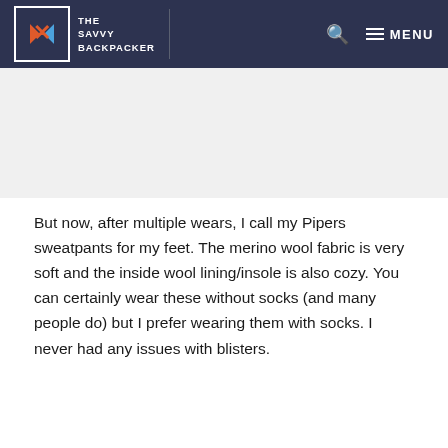THE SAVVY BACKPACKER — MENU
[Figure (other): Advertisement placeholder area, light gray background]
But now, after multiple wears, I call my Pipers sweatpants for my feet. The merino wool fabric is very soft and the inside wool lining/insole is also cozy. You can certainly wear these without socks (and many people do) but I prefer wearing them with socks. I never had any issues with blisters.
These days, I reach for my Pipers whenever I want to walk the neighborhood. They've become a staple at my local bagel place, coffee shop, and grocery store.
ALLBIRDS PIPERS STYLE AND LOOKS
[Figure (photo): Bottom image strip showing partial photo]